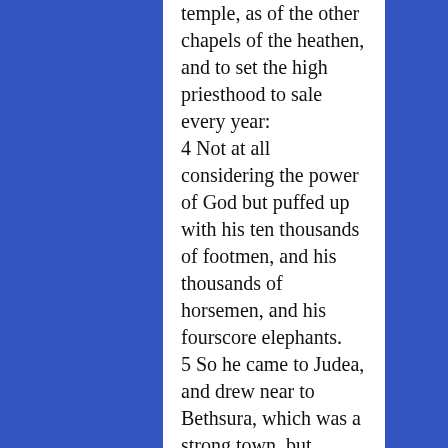temple, as of the other chapels of the heathen, and to set the high priesthood to sale every year: 4 Not at all considering the power of God but puffed up with his ten thousands of footmen, and his thousands of horsemen, and his fourscore elephants. 5 So he came to Judea, and drew near to Bethsura, which was a strong town, but distant from Jerusalem about five furlongs, and he laid sore siege unto it. 6 Now when